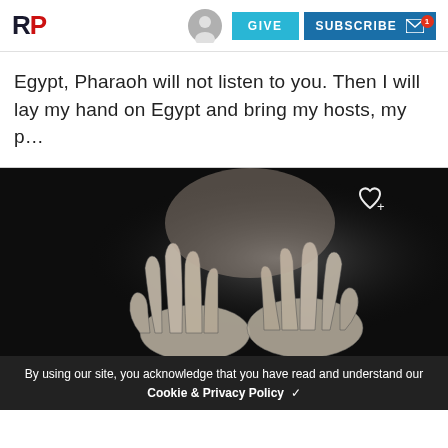RP | GIVE | SUBSCRIBE
Egypt, Pharaoh will not listen to you. Then I will lay my hand on Egypt and bring my hosts, my p...
[Figure (photo): Black and white photograph of a person's hands covering their face, with fingers spread across forehead and eyes, dark background]
By using our site, you acknowledge that you have read and understand our Cookie & Privacy Policy ✓